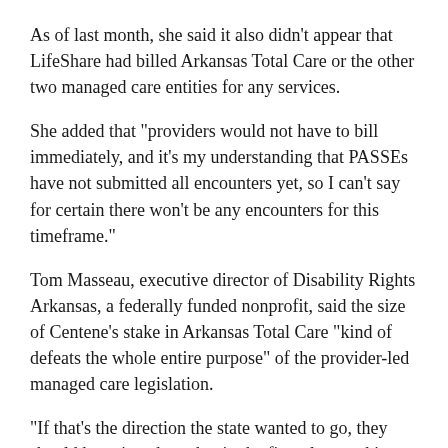As of last month, she said it also didn't appear that LifeShare had billed Arkansas Total Care or the other two managed care entities for any services.
She added that "providers would not have to bill immediately, and it's my understanding that PASSEs have not submitted all encounters yet, so I can't say for certain there won't be any encounters for this timeframe."
Tom Masseau, executive director of Disability Rights Arkansas, a federally funded nonprofit, said the size of Centene's stake in Arkansas Total Care "kind of defeats the whole entire purpose" of the provider-led managed care legislation.
"If that's the direction the state wanted to go, they should have just done that in the first place and just had Centene or Anthem come in and operate the managed care program," he said.